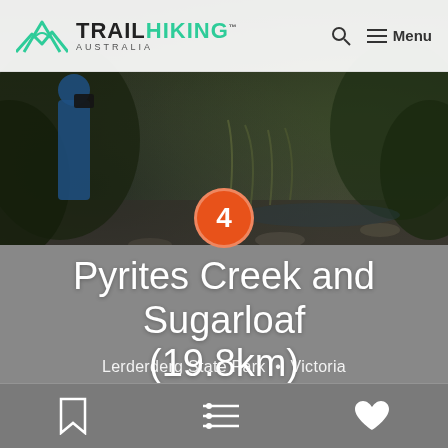TRAIL HIKING AUSTRALIA
[Figure (photo): Background photo of hiker in blue jacket in rocky forest creek environment, with dark foliage and rocky terrain]
4
Pyrites Creek and Sugarloaf (19.8km)
Lerderderg State Park • Victoria
19.8km • 6 hrs • Grade 4 • Circuit